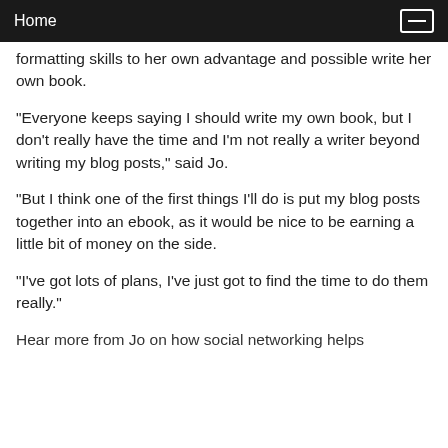Home
formatting skills to her own advantage and possible write her own book.
"Everyone keeps saying I should write my own book, but I don't really have the time and I'm not really a writer beyond writing my blog posts," said Jo.
"But I think one of the first things I'll do is put my blog posts together into an ebook, as it would be nice to be earning a little bit of money on the side.
"I've got lots of plans, I've just got to find the time to do them really."
Hear more from Jo on how social networking helps